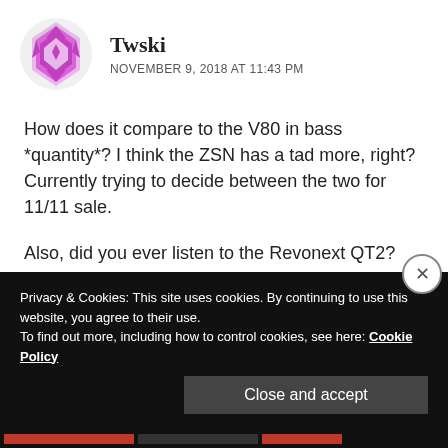[Figure (illustration): Purple geometric avatar icon for user Twski]
Twski
NOVEMBER 9, 2018 AT 11:43 PM
How does it compare to the V80 in bass *quantity*? I think the ZSN has a tad more, right? Currently trying to decide between the two for 11/11 sale.

Also, did you ever listen to the Revonext QT2?

Thanks man, keep it up!
Privacy & Cookies: This site uses cookies. By continuing to use this website, you agree to their use.
To find out more, including how to control cookies, see here: Cookie Policy
Close and accept